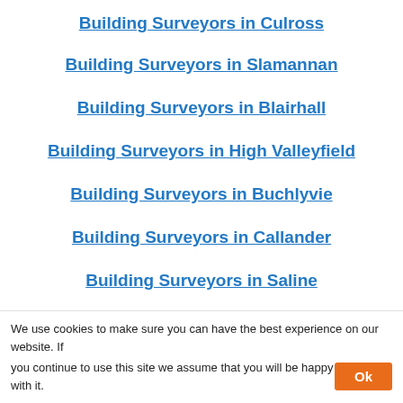Building Surveyors in Culross
Building Surveyors in Slamannan
Building Surveyors in Blairhall
Building Surveyors in High Valleyfield
Building Surveyors in Buchlyvie
Building Surveyors in Callander
Building Surveyors in Saline
Building Surveyors in Glendevon
Building Surveyors in Rumblingbridge
Building Surveyors in Port of Menteith
We use cookies to make sure you can have the best experience on our website. If you continue to use this site we assume that you will be happy with it.